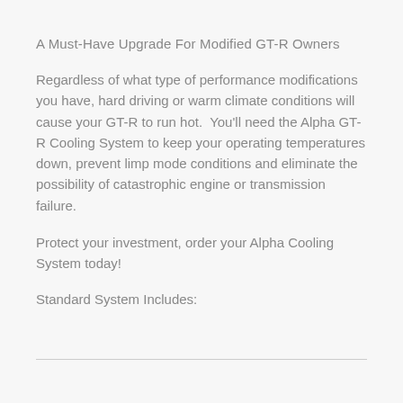A Must-Have Upgrade For Modified GT-R Owners
Regardless of what type of performance modifications you have, hard driving or warm climate conditions will cause your GT-R to run hot.  You’ll need the Alpha GT-R Cooling System to keep your operating temperatures down, prevent limp mode conditions and eliminate the possibility of catastrophic engine or transmission failure.
Protect your investment, order your Alpha Cooling System today!
Standard System Includes: